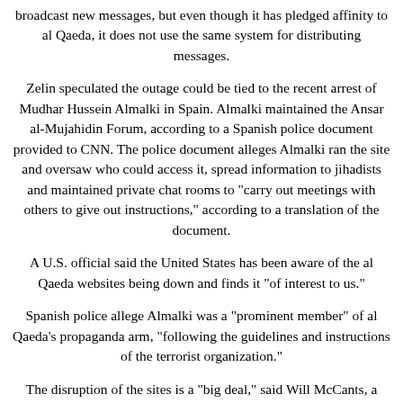broadcast new messages, but even though it has pledged affinity to al Qaeda, it does not use the same system for distributing messages.
Zelin speculated the outage could be tied to the recent arrest of Mudhar Hussein Almalki in Spain. Almalki maintained the Ansar al-Mujahidin Forum, according to a Spanish police document provided to CNN. The police document alleges Almalki ran the site and oversaw who could access it, spread information to jihadists and maintained private chat rooms to "carry out meetings with others to give out instructions," according to a translation of the document.
A U.S. official said the United States has been aware of the al Qaeda websites being down and finds it "of interest to us."
Spanish police allege Almalki was a "prominent member" of al Qaeda's propaganda arm, "following the guidelines and instructions of the terrorist organization."
The disruption of the sites is a "big deal," said Will McCants, a former State Department counterterrorism official and currently a fellow at the Homeland Security Policy Institute at George Washington University. One site, Shamukh al-Islam, is a flagship for al Qaeda supporters and one of the first places the terror group's propaganda is distributed, McCants said. Its stoppage is